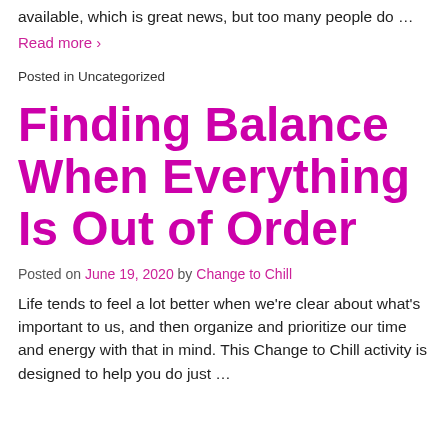available, which is great news, but too many people do …
Read more ›
Posted in Uncategorized
Finding Balance When Everything Is Out of Order
Posted on June 19, 2020 by Change to Chill
Life tends to feel a lot better when we're clear about what's important to us, and then organize and prioritize our time and energy with that in mind. This Change to Chill activity is designed to help you do just …